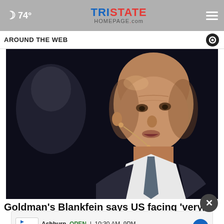74° TRISTATE HOMEPAGE.com
AROUND THE WEB
[Figure (photo): Close-up photo of a bald middle-aged man wearing a suit and tie with a lapel microphone, speaking at an event against a dark background]
Goldman's Blankfein says US facing 'very, very high...
Ashburn OPEN | 10:30AM–9PM 44155 Ashbrook Marketplace, ...